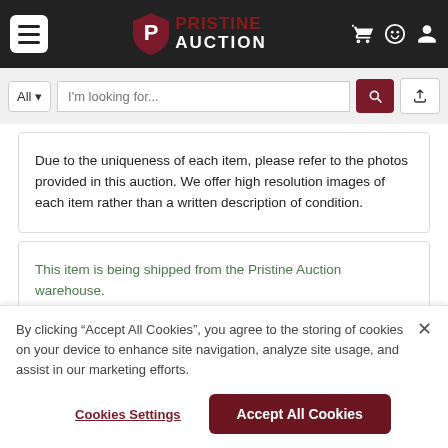[Figure (logo): Pristine Auction logo with hamburger menu and header icons (cart, smiley, person) on dark background]
[Figure (screenshot): Search bar with All dropdown, I'm looking for... placeholder, search button, and upload button]
Due to the uniqueness of each item, please refer to the photos provided in this auction. We offer high resolution images of each item rather than a written description of condition.
This item is being shipped from the Pristine Auction warehouse.
By clicking “Accept All Cookies”, you agree to the storing of cookies on your device to enhance site navigation, analyze site usage, and assist in our marketing efforts.
Cookies Settings
Accept All Cookies